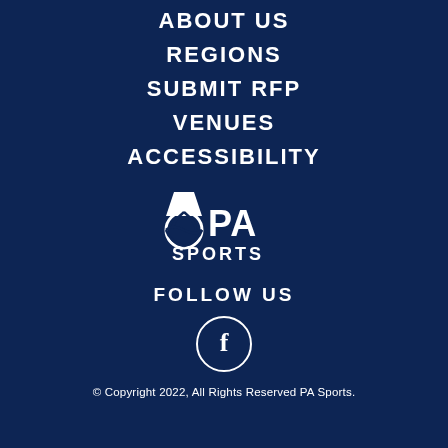ABOUT US
REGIONS
SUBMIT RFP
VENUES
ACCESSIBILITY
[Figure (logo): PA Sports logo — white volleyball/keystone icon with 'PA SPORTS' text in white on dark navy background]
FOLLOW US
[Figure (illustration): White Facebook icon inside a white circle outline]
© Copyright 2022, All Rights Reserved PA Sports.